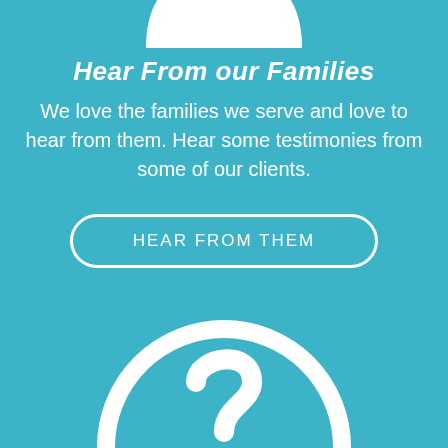[Figure (illustration): Partial white circular icon (person/family silhouette) visible at top, cropped]
Hear From our Families
We love the families we serve and love to hear from them. Hear some testimonies from some of our clients.
HEAR FROM THEM
[Figure (illustration): Large white circle outline containing a white question mark icon on teal background, partially cropped at bottom]